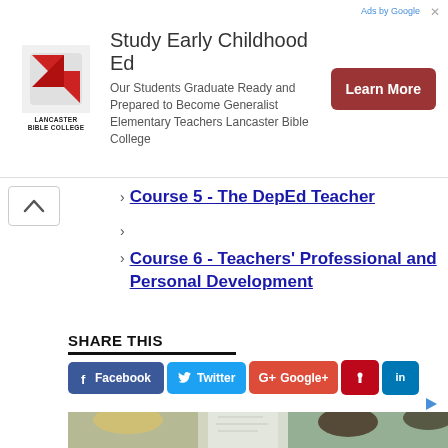[Figure (screenshot): Lancaster Bible College advertisement banner: logo on left, text 'Study Early Childhood Ed / Our Students Graduate Ready and Prepared to Become Generalist Elementary Teachers Lancaster Bible College', red 'Learn More' button on right]
> Course 5 - The DepEd Teacher
> Course 6 - Teachers' Professional and Personal Development
SHARE THIS
[Figure (screenshot): Social share buttons: Facebook, Twitter, Google+, Pinterest (icon), LinkedIn (icon)]
[Figure (photo): Classroom photo showing students and a teacher near a whiteboard]